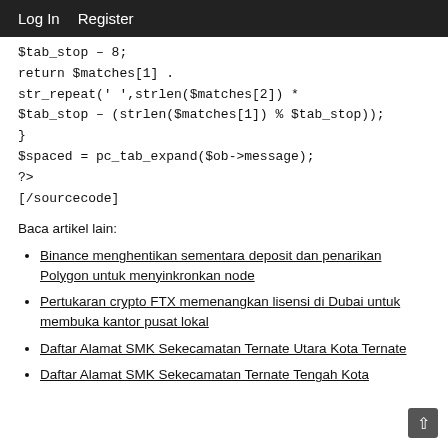Log In  Register
$tab_stop – 8;
return $matches[1] .
str_repeat(' ',strlen($matches[2]) *
$tab_stop – (strlen($matches[1]) % $tab_stop));
}
$spaced = pc_tab_expand($ob->message);
?>
[/sourcecode]
Baca artikel lain:
Binance menghentikan sementara deposit dan penarikan Polygon untuk menyinkronkan node
Pertukaran crypto FTX memenangkan lisensi di Dubai untuk membuka kantor pusat lokal
Daftar Alamat SMK Sekecamatan Ternate Utara Kota Ternate
Daftar Alamat SMK Sekecamatan Ternate Tengah Kota